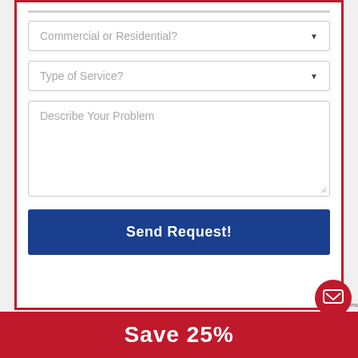[Figure (screenshot): A web form with dropdown fields for 'Commercial or Residential?' and 'Type of Service?', a textarea for 'Describe Your Problem', a blue 'Send Request!' button, a red chat bubble icon, and a red banner at the bottom showing 'Save 25%']